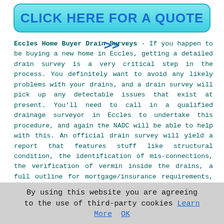[Figure (other): Cyan/turquoise rounded button with bold blue text: CLICK HERE FOR A QUOTE >>]
Eccles Home Buyer Drain Surveys - If you happen to be buying a new home in Eccles, getting a detailed drain survey is a very critical step in the process. You definitely want to avoid any likely problems with your drains, and a drain survey will pick up any detectable issues that exist at present. You'll need to call in a qualified drainage surveyor in Eccles to undertake this procedure, and again the NADC will be able to help with this. An official drain survey will yield a report that features stuff like structural condition, the identification of mis-connections, the verification of vermin inside the drains, a full outline for mortgage/insurance requirements, drainage system ownership details (water company) and drain mapping/tracing.
Drain unblocking is available in Eccles and also in: Ellesmere Park, Worsley, Wardley, Salford, Swinton, Moorside, Barton-upon-Irwell, Trafford Park, Hazelhurst, Little Bolton, Alder Forest, Pendlebury, Peel Green, Patricroft, and in these postcodes M30 0LW, M30 0JN, M30
By using this website you are agreeing to the use of third-party cookies Learn More  OK